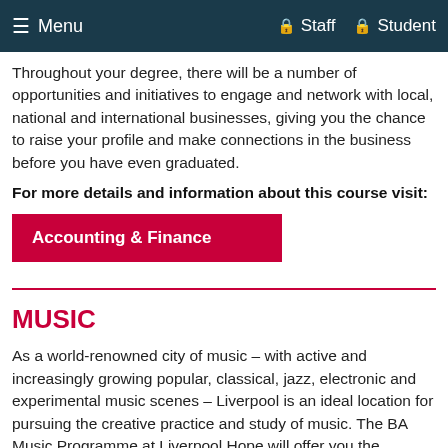Menu  Staff  Student
Throughout your degree, there will be a number of opportunities and initiatives to engage and network with local, national and international businesses, giving you the chance to raise your profile and make connections in the business before you have even graduated.
For more details and information about this course visit:
Accounting & Finance
MUSIC
As a world-renowned city of music – with active and increasingly growing popular, classical, jazz, electronic and experimental music scenes – Liverpool is an ideal location for pursuing the creative practice and study of music. The BA Music Programme at Liverpool Hope will offer you the opportunity to explore the many facets of performing,